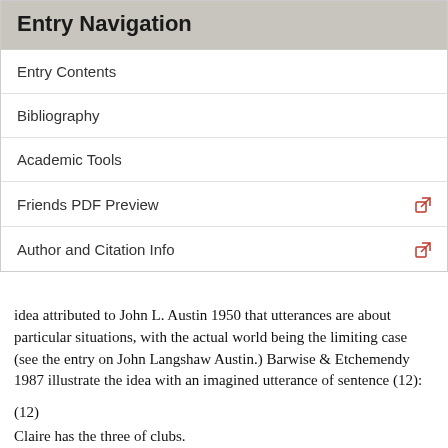Entry Navigation
Entry Contents
Bibliography
Academic Tools
Friends PDF Preview
Author and Citation Info
idea attributed to John L. Austin 1950 that utterances are about particular situations, with the actual world being the limiting case (see the entry on John Langshaw Austin.) Barwise & Etchemendy 1987 illustrate the idea with an imagined utterance of sentence (12):
(12)
Claire has the three of clubs.
Whether an utterance of (12) is true or false depends, among other things, on what situation the utterance is about.